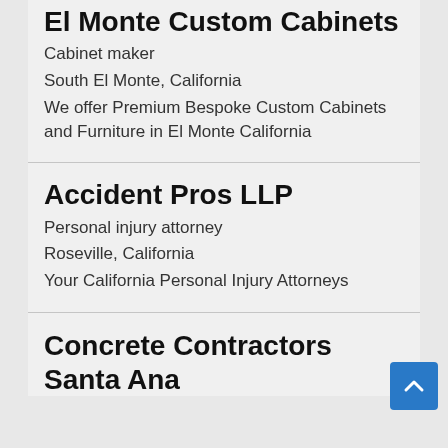El Monte Custom Cabinets
Cabinet maker
South El Monte, California
We offer Premium Bespoke Custom Cabinets and Furniture in El Monte California
Accident Pros LLP
Personal injury attorney
Roseville, California
Your California Personal Injury Attorneys
Concrete Contractors Santa Ana